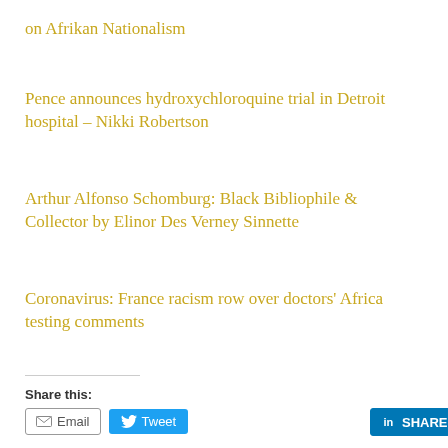on Afrikan Nationalism
Pence announces hydroxychloroquine trial in Detroit hospital – Nikki Robertson
Arthur Alfonso Schomburg: Black Bibliophile & Collector by Elinor Des Verney Sinnette
Coronavirus: France racism row over doctors' Africa testing comments
Share this:
Email  Tweet  SHARE